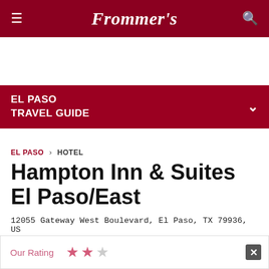Frommer's
EL PASO TRAVEL GUIDE
EL PASO › HOTEL
Hampton Inn & Suites El Paso/East
12055 Gateway West Boulevard, El Paso, TX 79936, US
Our Rating ★★☆